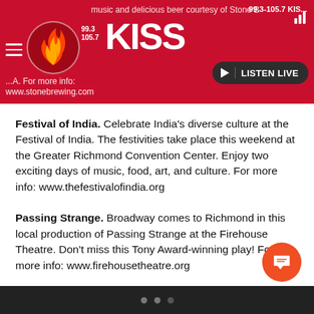99.3-105.7 KISS FM - music and delicious beer courtesy of Stone Brewing Co. For more info: www.stonebrewing.com
Festival of India. Celebrate India's diverse culture at the Festival of India. The festivities take place this weekend at the Greater Richmond Convention Center. Enjoy two exciting days of music, food, art, and culture. For more info: www.thefestivalofindia.org
Passing Strange. Broadway comes to Richmond in this local production of Passing Strange at the Firehouse Theatre. Don't miss this Tony Award-winning play! For more info: www.firehousetheatre.org
St. Benedict Octoberfest. Welcome fall at St. Benedict Octoberfest! Celebrate with live entertainment, auth...